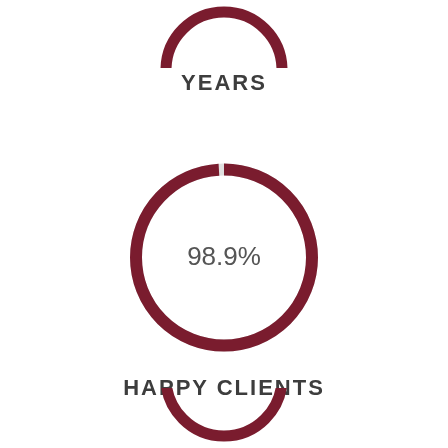[Figure (donut-chart): Partial donut chart at top of page showing YEARS metric]
YEARS
[Figure (donut-chart): HAPPY CLIENTS]
HAPPY CLIENTS
[Figure (donut-chart): Partial donut chart at bottom of page]